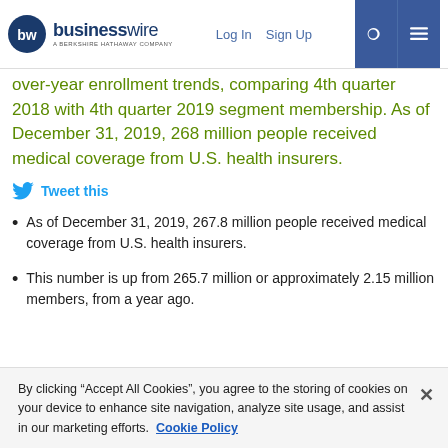businesswire — A BERKSHIRE HATHAWAY COMPANY | Log In | Sign Up
over-year enrollment trends, comparing 4th quarter 2018 with 4th quarter 2019 segment membership. As of December 31, 2019, 268 million people received medical coverage from U.S. health insurers.
Tweet this
As of December 31, 2019, 267.8 million people received medical coverage from U.S. health insurers.
This number is up from 265.7 million or approximately 2.15 million members, from a year ago.
By clicking “Accept All Cookies”, you agree to the storing of cookies on your device to enhance site navigation, analyze site usage, and assist in our marketing efforts. Cookie Policy